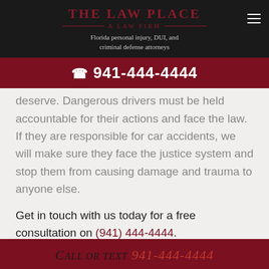The Law Place — A Law Firm | Florida personal injury, DUI, and criminal defense attorneys
☎ 941-444-4444
deserve. Dangerous drivers must be held accountable for their actions and face the law. If they are responsible for car accidents, we will make sure they face the justice system and stop them from causing damage and trauma to anyone else.
Get in touch with us today for a free consultation on (941) 444-4444.
Call or text 941-444-4444